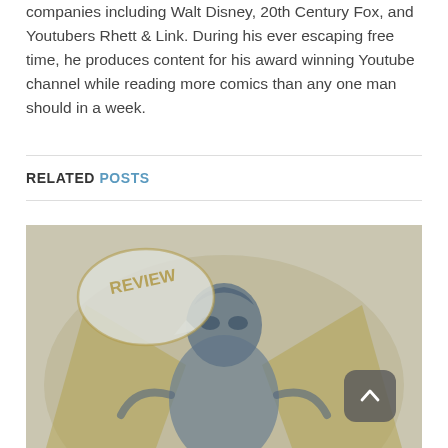companies including Walt Disney, 20th Century Fox, and Youtubers Rhett & Link. During his ever escaping free time, he produces content for his award winning Youtube channel while reading more comics than any one man should in a week.
RELATED POSTS
[Figure (illustration): A comic book style review image showing a superhero or villain character in a muted blue-yellow color scheme, with a speech bubble containing the word REVIEW]